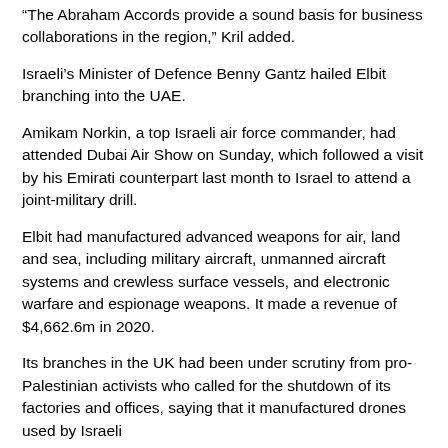“The Abraham Accords provide a sound basis for business collaborations in the region,” Kril added.
Israeli’s Minister of Defence Benny Gantz hailed Elbit branching into the UAE.
Amikam Norkin, a top Israeli air force commander, had attended Dubai Air Show on Sunday, which followed a visit by his Emirati counterpart last month to Israel to attend a joint-military drill.
Elbit had manufactured advanced weapons for air, land and sea, including military aircraft, unmanned aircraft systems and crewless surface vessels, and electronic warfare and espionage weapons. It made a revenue of $4,662.6m in 2020.
Its branches in the UK had been under scrutiny from pro-Palestinian activists who called for the shutdown of its factories and offices, saying that it manufactured drones used by Israeli